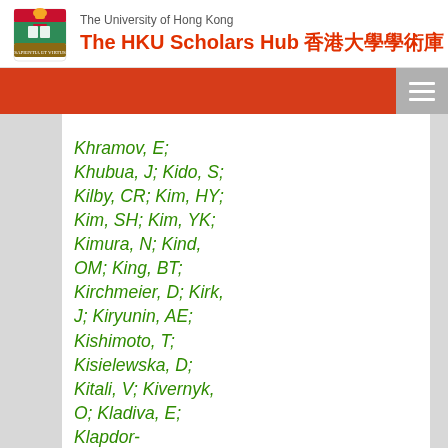The University of Hong Kong — The HKU Scholars Hub 香港大學學術庫
Khramov, E; Khubua, J; Kido, S; Kilby, CR; Kim, HY; Kim, SH; Kim, YK; Kimura, N; Kind, OM; King, BT; Kirchmeier, D; Kirk, J; Kiryunin, AE; Kishimoto, T; Kisielewska, D; Kitali, V; Kivernyk, O; Kladiva, E; Klapdor-Kleingrothaus, T; Klein, MH; Klein, M; Klein, U; Kleinknecht, K; Klimek, P;